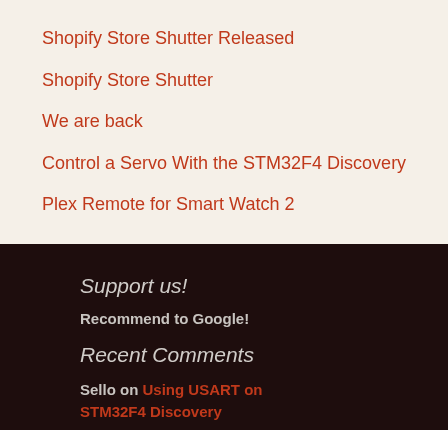Shopify Store Shutter Released
Shopify Store Shutter
We are back
Control a Servo With the STM32F4 Discovery
Plex Remote for Smart Watch 2
Support us!
Recommend to Google!
Recent Comments
Sello on Using USART on STM32F4 Discovery